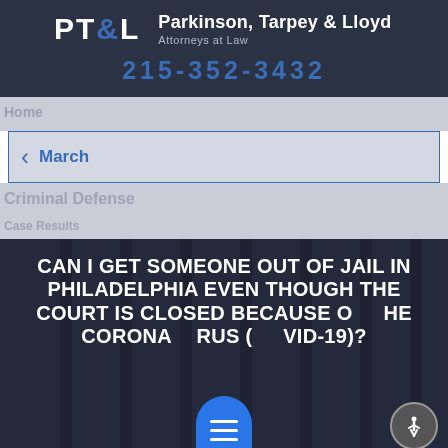[Figure (logo): PT&L Parkinson, Tarpey & Lloyd Attorneys at Law logo on dark navy background]
215-352-3432
Home
March
Criminal Defense
Case Results
CAN I GET SOMEONE OUT OF JAIL IN PHILADELPHIA EVEN THOUGH THE COURT IS CLOSED BECAUSE OF THE CORONA VIRUS (COVID-19)?